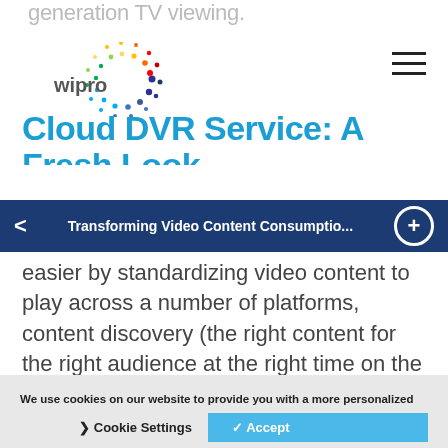generation TV viewing.
[Figure (logo): Wipro logo with colorful dot spiral]
Cloud DVR Service: A Fresh Look
Transforming Video Content Consumptio...
easier by standardizing video content to play across a number of platforms, content discovery (the right content for the right audience at the right time on the right device) has emerged as a key issue for consumers. It is necessary to create environments where consumers can easily
We use cookies on our website to provide you with a more personalized digital experience. To learn more about how we use cookies and how you can change your cookie settings, please refer to our Privacy Statement and Cookie Classification
Cookie Settings   ✓ Accept